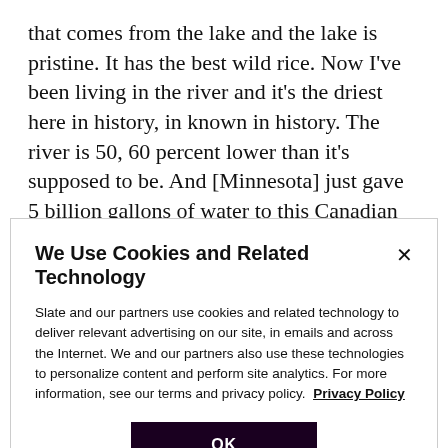that comes from the lake and the lake is pristine. It has the best wild rice. Now I've been living in the river and it's the driest here in history, in known in history. The river is 50, 60 percent lower than it's supposed to be. And [Minnesota] just gave 5 billion gallons of water to this Canadian multinational to [build] the last tar sands pipeline. Now that's crazy. … They're basically putting an entire ecosystem at risk so that they can make a buck. I mean this pipeline is worse than Keystone
We Use Cookies and Related Technology
Slate and our partners use cookies and related technology to deliver relevant advertising on our site, in emails and across the Internet. We and our partners also use these technologies to personalize content and perform site analytics. For more information, see our terms and privacy policy. Privacy Policy
OK